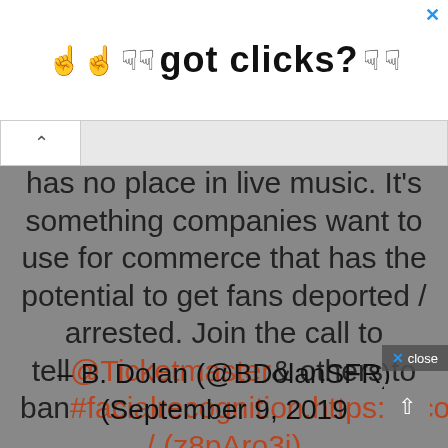[Figure (screenshot): Advertisement banner with cursor/hand icons and text 'got clicks?' with an X close button]
has no place in live music. It's something companies want to use for commerce that has the potential to get fans deported / arrested. Join the call to tell@Ticketmaster& others to ban#facialrecognition.https://t.co / (z8pAro3j)
– B. Dolan (@BDolanSFR) (September 9, 2019